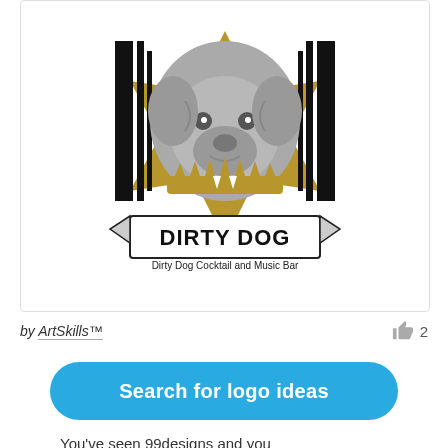[Figure (logo): Dirty Dog Cocktail and Music Bar logo featuring a bulldog wearing a spiked collar, with star/shield motif in black, gold, and gray. Banner reads DIRTY DOG with subtitle: Dirty Dog Cocktail and Music Bar.]
by ArtSkills™
2
Search for logo ideas
You've seen 99designs and you will never go back again?